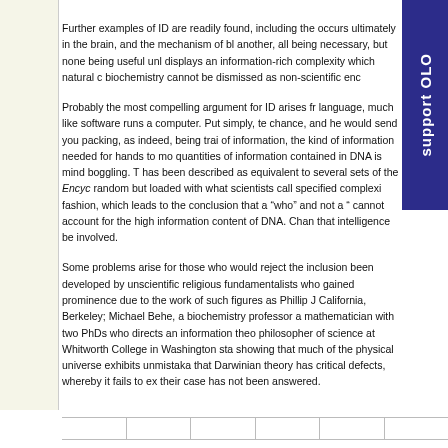Further examples of ID are readily found, including the occurs ultimately in the brain, and the mechanism of bl another, all being necessary, but none being useful unl displays an information-rich complexity which natural c biochemistry cannot be dismissed as non-scientific enc
Probably the most compelling argument for ID arises fr language, much like software runs a computer. Put simply, te chance, and he would send you packing, as indeed, being trai of information, the kind of information needed for hands to mo quantities of information contained in DNA is mind boggling. T has been described as equivalent to several sets of the Encyc random but loaded with what scientists call specified complexi fashion, which leads to the conclusion that a “who” and not a “ cannot account for the high information content of DNA. Chan that intelligence be involved.
Some problems arise for those who would reject the inclusion been developed by unscientific religious fundamentalists who gained prominence due to the work of such figures as Phillip J California, Berkeley; Michael Behe, a biochemistry professor a mathematician with two PhDs who directs an information theo philosopher of science at Whitworth College in Washington sta showing that much of the physical universe exhibits unmistaka that Darwinian theory has critical defects, whereby it fails to ex their case has not been answered.